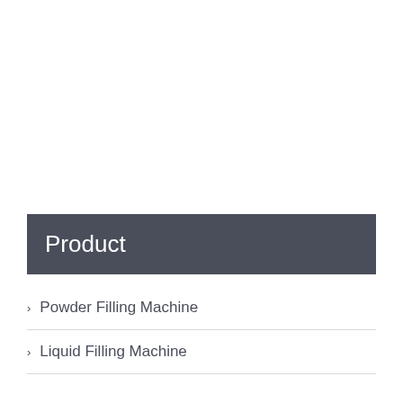Product
Powder Filling Machine
Liquid Filling Machine